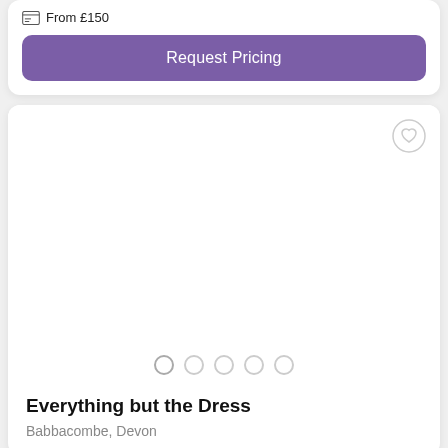From £150
Request Pricing
[Figure (screenshot): Empty image carousel area with a heart/favorite icon in the top right and five navigation dots at the bottom]
Everything but the Dress
Babbacombe, Devon